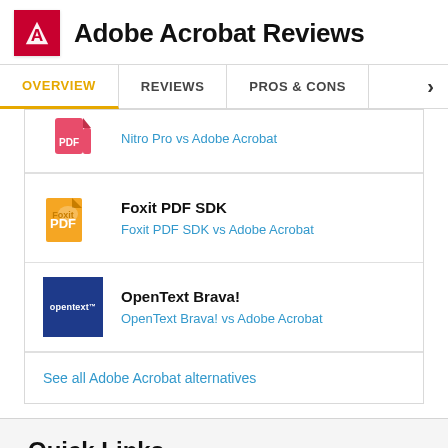Adobe Acrobat Reviews
OVERVIEW
REVIEWS
PROS & CONS
Nitro Pro vs Adobe Acrobat
Foxit PDF SDK
Foxit PDF SDK vs Adobe Acrobat
OpenText Brava!
OpenText Brava! vs Adobe Acrobat
See all Adobe Acrobat alternatives
Quick Links